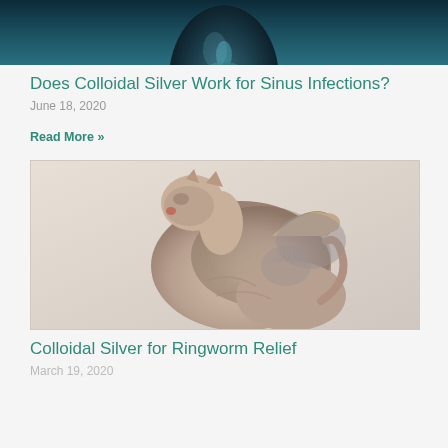[Figure (photo): Partial view of a blue metallic/digital human face against a dark teal background]
Does Colloidal Silver Work for Sinus Infections?
June 18, 2020
Read More »
[Figure (photo): A hairless Sphynx cat grooming itself, twisted to reach its back, against a light background]
Colloidal Silver for Ringworm Relief
March 19, 2020